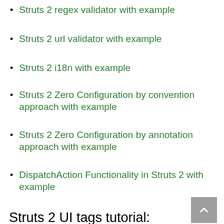Struts 2 regex validator with example
Struts 2 url validator with example
Struts 2 i18n with example
Struts 2 Zero Configuration by convention approach with example
Struts 2 Zero Configuration by annotation approach with example
DispatchAction Functionality in Struts 2 with example
Dynamic method invocation in struts 2 with example
Struts 2 UI tags tutorial:
Struts 2 UI tags with example